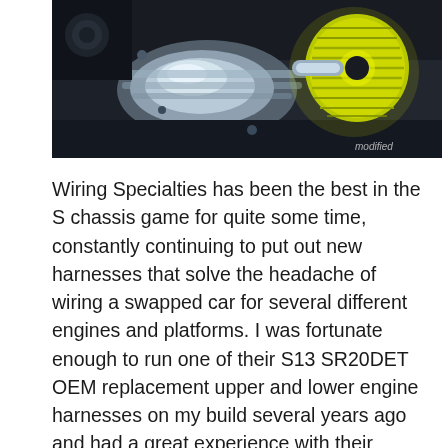[Figure (photo): Close-up photo of a car engine bay showing a chrome/polished intake manifold and a yellow/green ribbed air intake cone filter, with 'modified' watermark in the bottom right corner.]
Wiring Specialties has been the best in the S chassis game for quite some time, constantly continuing to put out new harnesses that solve the headache of wiring a swapped car for several different engines and platforms. I was fortunate enough to run one of their S13 SR20DET OEM replacement upper and lower engine harnesses on my build several years ago and had a great experience with their product. Nothing beats replacing an old, hacked up and brittle harness with fresh wiring and brand new connectors. Not only does it clean up the bay considerably, but it's also a guarantee that the car will fire up without any wiring related headaches